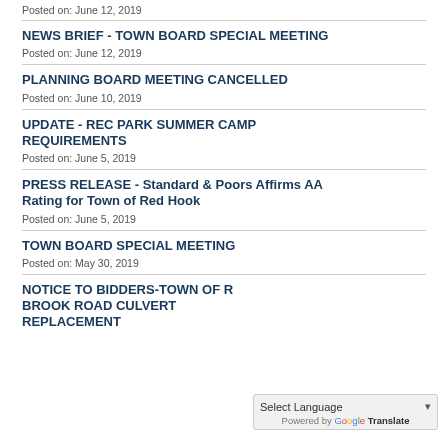Posted on: June 12, 2019
NEWS BRIEF - TOWN BOARD SPECIAL MEETING
Posted on: June 12, 2019
PLANNING BOARD MEETING CANCELLED
Posted on: June 10, 2019
UPDATE - REC PARK SUMMER CAMP REQUIREMENTS
Posted on: June 5, 2019
PRESS RELEASE - Standard & Poors Affirms AA Rating for Town of Red Hook
Posted on: June 5, 2019
TOWN BOARD SPECIAL MEETING
Posted on: May 30, 2019
NOTICE TO BIDDERS-TOWN OF RED HOOK ALLYN BROOK ROAD CULVERT REPLACEMENT